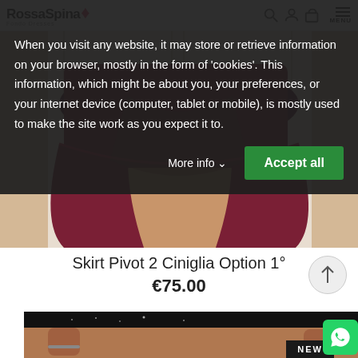RossaSpina - Fondo Dresses | MENU
[Figure (photo): Fashion product photo: model wearing a dark red/maroon flared skirt against a white door background, cropped at torso/legs]
When you visit any website, it may store or retrieve information on your browser, mostly in the form of 'cookies'. This information, which might be about you, your preferences, or your internet device (computer, tablet or mobile), is mostly used to make the site work as you expect it to.
More info  Accept all
Skirt Pivot 2 Ciniglia Option 1°
€75.00
[Figure (photo): Second fashion product photo: model wearing black sparkly top, cropped at midriff, with NEW badge]
NEW